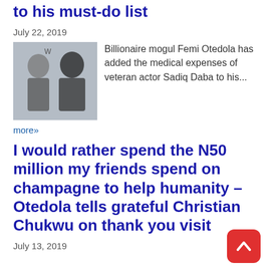to his must-do list
July 22, 2019
[Figure (photo): Thumbnail photo showing two people, likely Femi Otedola and Sadiq Daba]
Billionaire mogul Femi Otedola has added the medical expenses of veteran actor Sadiq Daba to his...
more»
I would rather spend the N50 million my friends spend on champagne to help humanity – Otedola tells grateful Christian Chukwu on thank you visit
July 13, 2019